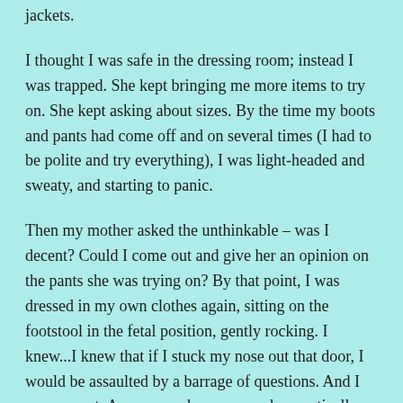jackets.
I thought I was safe in the dressing room; instead I was trapped. She kept bringing me more items to try on. She kept asking about sizes. By the time my boots and pants had come off and on several times (I had to be polite and try everything), I was light-headed and sweaty, and starting to panic.
Then my mother asked the unthinkable – was I decent? Could I come out and give her an opinion on the pants she was trying on? By that point, I was dressed in my own clothes again, sitting on the footstool in the fetal position, gently rocking. I knew...I knew that if I stuck my nose out that door, I would be assaulted by a barrage of questions. And I was correct. As soon as she saw me, she practically ran from the front of the store to the back. I admit that I failed as a daughter, nay a human being! I offered Mom my opinion and ducked back into the